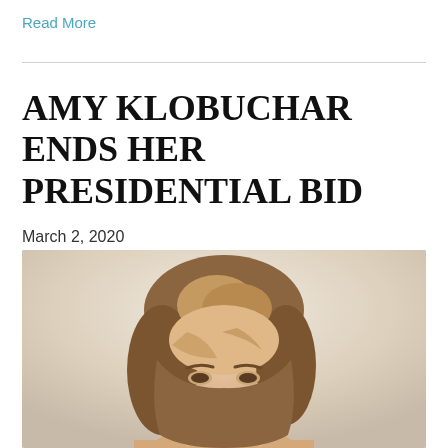Read More
AMY KLOBUCHAR ENDS HER PRESIDENTIAL BID
March 2, 2020
[Figure (photo): Headshot photograph of Amy Klobuchar, a woman with short blonde-brown hair, smiling, against a light background.]